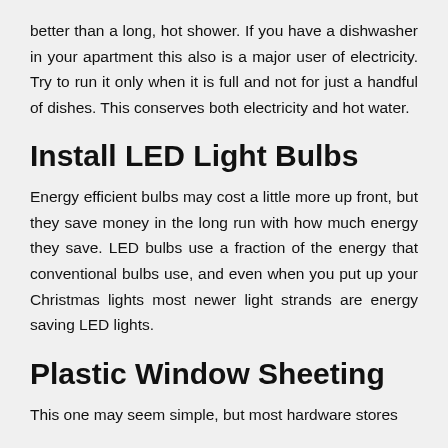better than a long, hot shower. If you have a dishwasher in your apartment this also is a major user of electricity. Try to run it only when it is full and not for just a handful of dishes. This conserves both electricity and hot water.
Install LED Light Bulbs
Energy efficient bulbs may cost a little more up front, but they save money in the long run with how much energy they save. LED bulbs use a fraction of the energy that conventional bulbs use, and even when you put up your Christmas lights most newer light strands are energy saving LED lights.
Plastic Window Sheeting
This one may seem simple, but most hardware stores